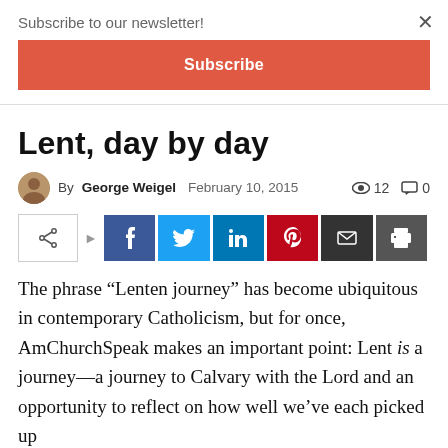Subscribe to our newsletter!
Subscribe
Lent, day by day
By George Weigel  February 10, 2015   12  0
[Figure (infographic): Social share buttons: share toggle, Facebook, Twitter, LinkedIn, Pinterest, Email, Print]
The phrase “Lenten journey” has become ubiquitous in contemporary Catholicism, but for once, AmChurchSpeak makes an important point: Lent is a journey—a journey to Calvary with the Lord and an opportunity to reflect on how well we’ve each picked up